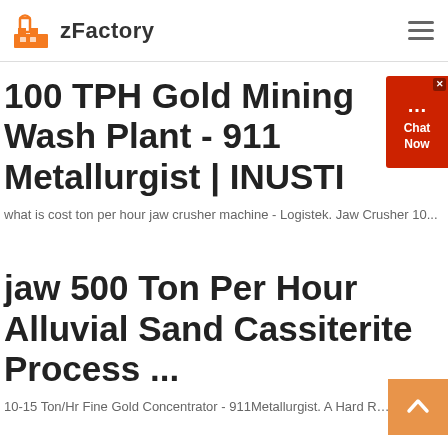zFactory
100 TPH Gold Mining Wash Plant - 911 Metallurgist | INUSTI
what is cost ton per hour jaw crusher machine - Logistek. Jaw Crusher 10...
jaw 500 Ton Per Hour Alluvial Sand Cassiterite Process ...
10-15 Ton/Hr Fine Gold Concentrator - 911Metallurgist. A Hard Rock oper...